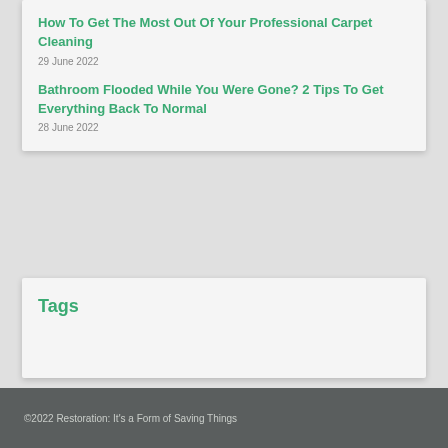How To Get The Most Out Of Your Professional Carpet Cleaning
29 June 2022
Bathroom Flooded While You Were Gone? 2 Tips To Get Everything Back To Normal
28 June 2022
Tags
©2022 Restoration: It's a Form of Saving Things